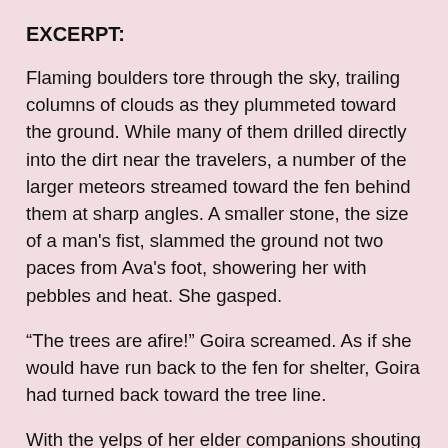EXCERPT:
Flaming boulders tore through the sky, trailing columns of clouds as they plummeted toward the ground. While many of them drilled directly into the dirt near the travelers, a number of the larger meteors streamed toward the fen behind them at sharp angles. A smaller stone, the size of a man's fist, slammed the ground not two paces from Ava's foot, showering her with pebbles and heat. She gasped.
“The trees are afire!” Goira screamed. As if she would have run back to the fen for shelter, Goira had turned back toward the tree line.
With the yelps of her elder companions shouting advice at each other and the fire rocks pounding the ground around her, a rush of worry and flurry rose in Ava’s chest. It tightened her muscles until they squeezed her ribs. Her heart rate quickened as she bent her knees slightly, ready to flee one direction or another.
Where could she run? No one could guess where the pelting stones would hit next with their breaking blasts tearing and